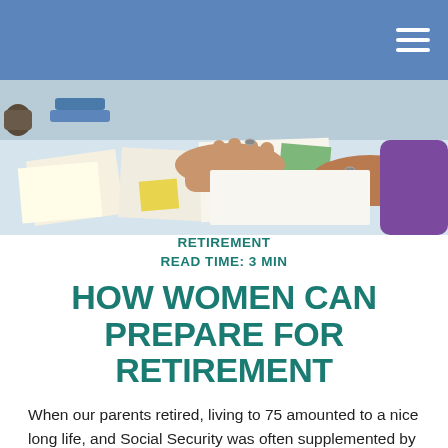Navigation header with hamburger menu
[Figure (photo): Close-up of a woman's hands working at a desk with papers and documents, wearing rings, purple sleeve visible]
RETIREMENT
READ TIME: 3 MIN
HOW WOMEN CAN PREPARE FOR RETIREMENT
When our parents retired, living to 75 amounted to a nice long life, and Social Security was often supplemented by a pension. The Social Security Administration (SSA) estimates that today's average 65-year-old woman will live